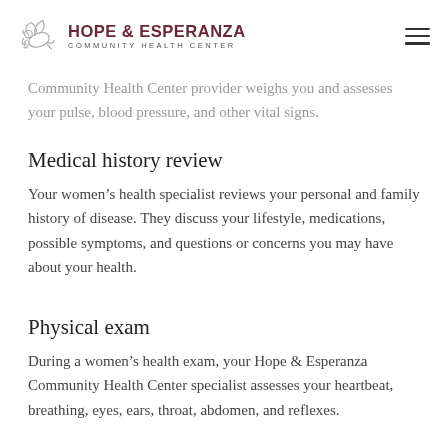HOPE & ESPERANZA COMMUNITY HEALTH CENTER
Community Health Center provider weighs you and assesses your pulse, blood pressure, and other vital signs.
Medical history review
Your women’s health specialist reviews your personal and family history of disease. They discuss your lifestyle, medications, possible symptoms, and questions or concerns you may have about your health.
Physical exam
During a women’s health exam, your Hope & Esperanza Community Health Center specialist assesses your heartbeat, breathing, eyes, ears, throat, abdomen, and reflexes.